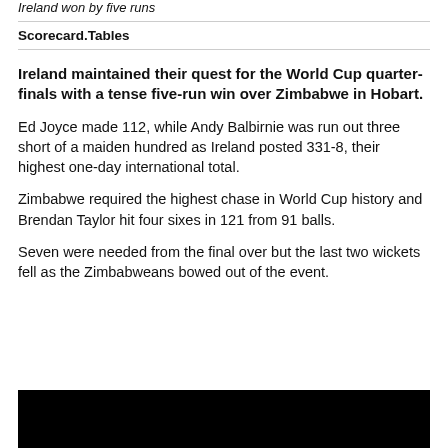Ireland won by five runs
Scorecard.Tables
Ireland maintained their quest for the World Cup quarter-finals with a tense five-run win over Zimbabwe in Hobart.
Ed Joyce made 112, while Andy Balbirnie was run out three short of a maiden hundred as Ireland posted 331-8, their highest one-day international total.
Zimbabwe required the highest chase in World Cup history and Brendan Taylor hit four sixes in 121 from 91 balls.
Seven were needed from the final over but the last two wickets fell as the Zimbabweans bowed out of the event.
[Figure (photo): Black image/photo block at bottom of page]